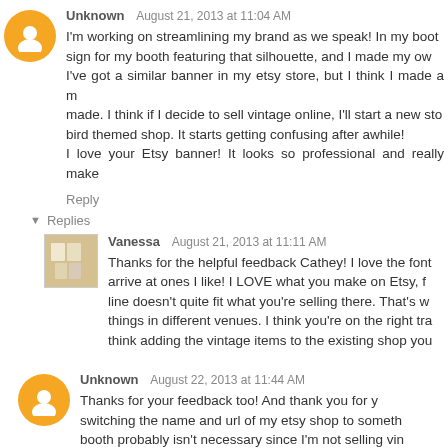Unknown  August 21, 2013 at 11:04 AM
I'm working on streamlining my brand as we speak! In my booth sign for my booth featuring that silhouette, and I made my own I've got a similar banner in my etsy store, but I think I made a m made. I think if I decide to sell vintage online, I'll start a new sto bird themed shop. It starts getting confusing after awhile! I love your Etsy banner! It looks so professional and really make
Reply
Replies
Vanessa  August 21, 2013 at 11:11 AM
Thanks for the helpful feedback Cathey! I love the font arrive at ones I like! I LOVE what you make on Etsy, f line doesn't quite fit what you're selling there. That's w things in different venues. I think you're on the right tra think adding the vintage items to the existing shop you
Unknown  August 22, 2013 at 11:44 AM
Thanks for your feedback too! And thank you for y switching the name and url of my etsy shop to someth booth probably isn't necessary since I'm not selling vin